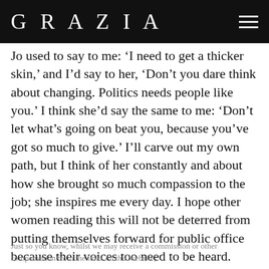GRAZIA
Jo used to say to me: ‘I need to get a thicker skin,’ and I’d say to her, ‘Don’t you dare think about changing. Politics needs people like you.’ I think she’d say the same to me: ‘Don’t let what’s going on beat you, because you’ve got so much to give.’ I’ll carve out my own path, but I think of her constantly and about how she brought so much compassion to the job; she inspires me every day. I hope other women reading this will not be deterred from putting themselves forward for public office because their voices too need to be heard.
Just so you know, whilst we may receive a commission or other compensation from the links on this website,